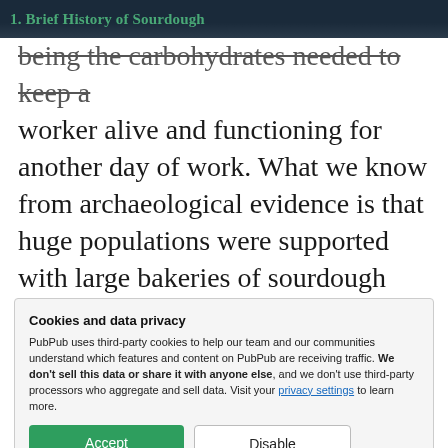1. Brief History of Sourdough
being the carbohydrates needed to keep a worker alive and functioning for another day of work. What we know from archaeological evidence is that huge populations were supported with large bakeries of sourdough breads in ancient Egypt. What follows several thousand years of Egyptian civilization are the
Cookies and data privacy
PubPub uses third-party cookies to help our team and our communities understand which features and content on PubPub are receiving traffic. We don't sell this data or share it with anyone else, and we don't use third-party processors who aggregate and sell data. Visit your privacy settings to learn more.